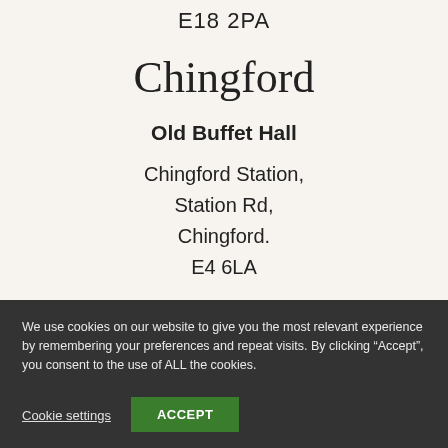E18 2PA
Chingford
Old Buffet Hall
Chingford Station,
Station Rd,
Chingford.
E4 6LA
We use cookies on our website to give you the most relevant experience by remembering your preferences and repeat visits. By clicking “Accept”, you consent to the use of ALL the cookies.
Cookie settings   ACCEPT